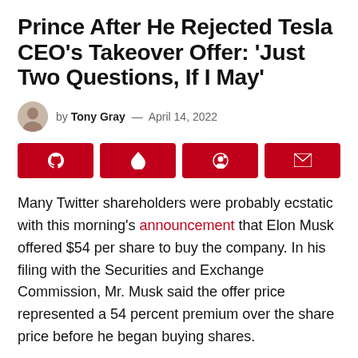Prince After He Rejected Tesla CEO's Takeover Offer: 'Just Two Questions, If I May'
by Tony Gray — April 14, 2022
[Figure (other): Four red social share buttons: Telegram, a flame/drop icon, Reddit, and email envelope]
Many Twitter shareholders were probably ecstatic with this morning's announcement that Elon Musk offered $54 per share to buy the company. In his filing with the Securities and Exchange Commission, Mr. Musk said the offer price represented a 54 percent premium over the share price before he began buying shares.
ADVERTISEMENTS
ON OFF